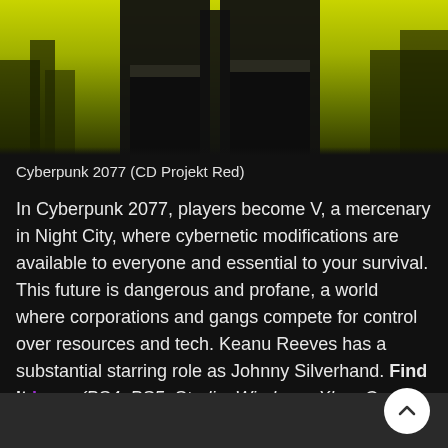[Figure (photo): Cyberpunk 2077 game cover art showing characters from behind against a yellow-green neon cityscape background]
Cyberpunk 2077 (CD Projekt Red)
In Cyberpunk 2077, players become V, a mercenary in Night City, where cybernetic modifications are available to everyone and essential to your survival. This future is dangerous and profane, a world where corporations and gangs compete for control over resources and tech. Keanu Reeves has a substantial starring role as Johnny Silverhand. Find it here. (PS4, PS5, Stadia, Windows, Xbox One, Xbox Series S/X. Rated mature.)